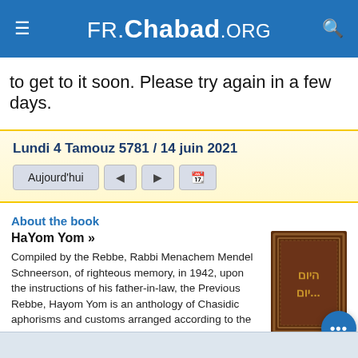FR Chabad.ORG
to get to it soon. Please try again in a few days.
Lundi 4 Tamouz 5781 / 14 juin 2021
About the book
HaYom Yom »
Compiled by the Rebbe, Rabbi Menachem Mendel Schneerson, of righteous memory, in 1942, upon the instructions of his father-in-law, the Previous Rebbe, Hayom Yom is an anthology of Chasidic aphorisms and customs arranged according to the days of the year. It has since become a beloved classic work and a source of daily inspiration.
[Figure (photo): Cover of the HaYom Yom book — dark brown leather-look cover with Hebrew text in gold]